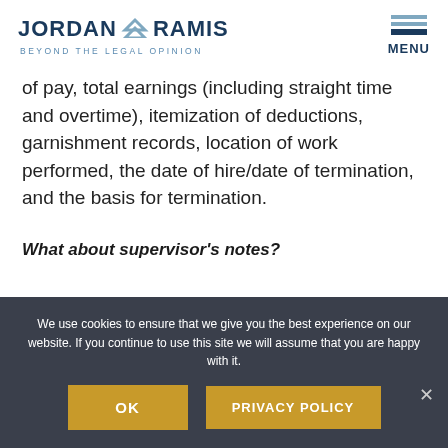JORDAN RAMIS — BEYOND THE LEGAL OPINION
of pay, total earnings (including straight time and overtime), itemization of deductions, garnishment records, location of work performed, the date of hire/date of termination, and the basis for termination.
What about supervisor's notes?
We use cookies to ensure that we give you the best experience on our website. If you continue to use this site we will assume that you are happy with it.